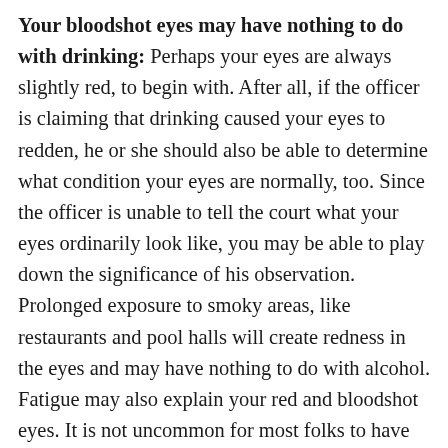Your bloodshot eyes may have nothing to do with drinking: Perhaps your eyes are always slightly red, to begin with. After all, if the officer is claiming that drinking caused your eyes to redden, he or she should also be able to determine what condition your eyes are normally, too. Since the officer is unable to tell the court what your eyes ordinarily look like, you may be able to play down the significance of his observation. Prolonged exposure to smoky areas, like restaurants and pool halls will create redness in the eyes and may have nothing to do with alcohol. Fatigue may also explain your red and bloodshot eyes. It is not uncommon for most folks to have red and tired eyes after a long day of work and/or play. Since most arrests for drunk driving occur in the evening or early morning, it is possible that the redness in your eyes just represents a long and hard day of honest work, or an early rise to the day. Allergies, colds, air pollution, and other blah can also cause redness in the...